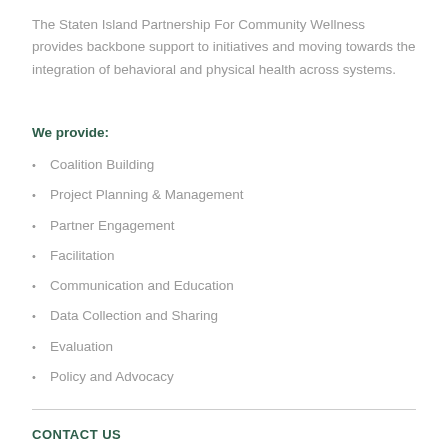The Staten Island Partnership For Community Wellness provides backbone support to initiatives and moving towards the integration of behavioral and physical health across systems.
We provide:
Coalition Building
Project Planning & Management
Partner Engagement
Facilitation
Communication and Education
Data Collection and Sharing
Evaluation
Policy and Advocacy
CONTACT US